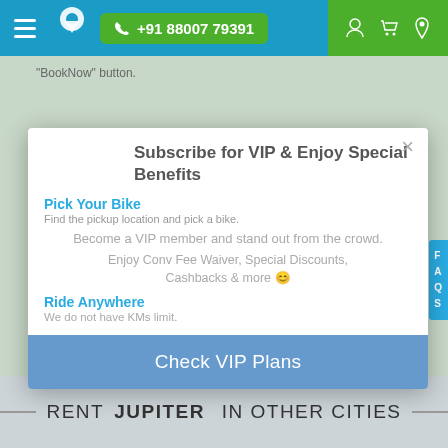+91 88007 79391
"BookNow" button.
Subscribe for VIP & Enjoy Special Benefits
Pick Your Bike
Find the pickup location and pick a bike.
Become a VIP member and stand out from the crowd.
Enjoy Conv Fee Waiver, Special Discounts, Cashbacks & more 😊
Ride Anywhere
We do not have KMs limit.
Check VIP Plans
RENT JUPITER IN OTHER CITIES